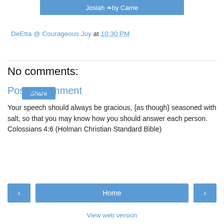Josiah ❧by Carrie
DeEtta @ Courageous Joy at 10:30 PM
Share
No comments:
Post a Comment
Your speech should always be gracious, {as though} seasoned with salt, so that you may know how you should answer each person.
Colossians 4:6 (Holman Christian Standard Bible)
‹   Home   › View web version